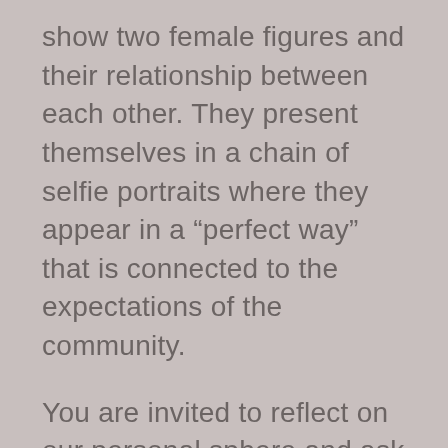show two female figures and their relationship between each other. They present themselves in a chain of selfie portraits where they appear in a “perfect way” that is connected to the expectations of the community.
You are invited to reflect on our personal sphere and ask yourself why it is so important to present ourself? Why are we always preoccupied and busy with ourselves? What happens inside us when we want or have to present ourselves? Why are we so careful with always showing the idea of a perfect life?
“Filter” is like an open box and on each side